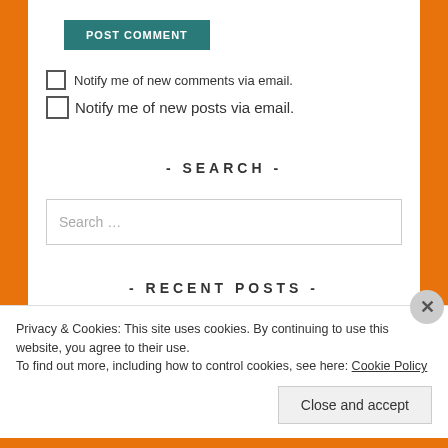POST COMMENT
Notify me of new comments via email.
Notify me of new posts via email.
- SEARCH -
Search …
- RECENT POSTS -
Privacy & Cookies: This site uses cookies. By continuing to use this website, you agree to their use.
To find out more, including how to control cookies, see here: Cookie Policy
Close and accept